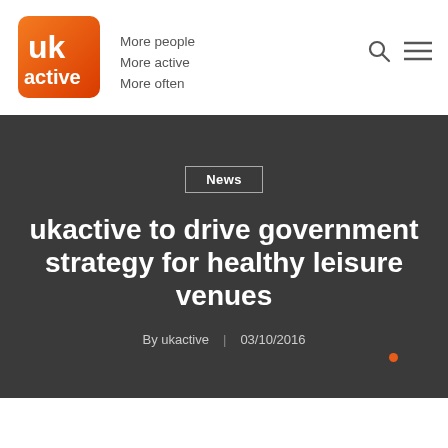ukactive — More people More active More often
News
ukactive to drive government strategy for healthy leisure venues
By ukactive | 03/10/2016